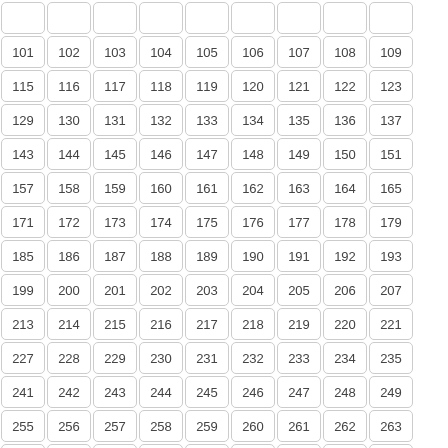| 101 | 102 | 103 | 104 | 105 | 106 | 107 | 108 | 109 |
| 115 | 116 | 117 | 118 | 119 | 120 | 121 | 122 | 123 |
| 129 | 130 | 131 | 132 | 133 | 134 | 135 | 136 | 137 |
| 143 | 144 | 145 | 146 | 147 | 148 | 149 | 150 | 151 |
| 157 | 158 | 159 | 160 | 161 | 162 | 163 | 164 | 165 |
| 171 | 172 | 173 | 174 | 175 | 176 | 177 | 178 | 179 |
| 185 | 186 | 187 | 188 | 189 | 190 | 191 | 192 | 193 |
| 199 | 200 | 201 | 202 | 203 | 204 | 205 | 206 | 207 |
| 213 | 214 | 215 | 216 | 217 | 218 | 219 | 220 | 221 |
| 227 | 228 | 229 | 230 | 231 | 232 | 233 | 234 | 235 |
| 241 | 242 | 243 | 244 | 245 | 246 | 247 | 248 | 249 |
| 255 | 256 | 257 | 258 | 259 | 260 | 261 | 262 | 263 |
| 269 | 270 | 271 | 272 | 273 | 274 | 275 | 276 | 277 |